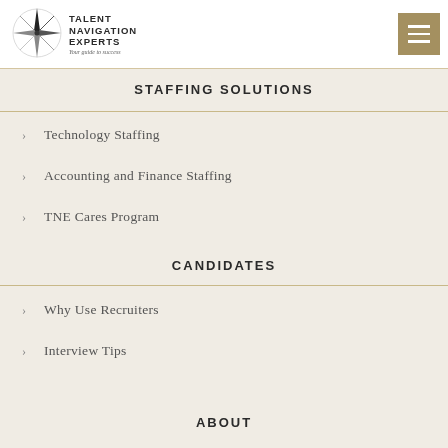[Figure (logo): Talent Navigation Experts logo with compass rose and text 'Talent Navigation Experts — Your guide to success']
STAFFING SOLUTIONS
Technology Staffing
Accounting and Finance Staffing
TNE Cares Program
CANDIDATES
Why Use Recruiters
Interview Tips
ABOUT